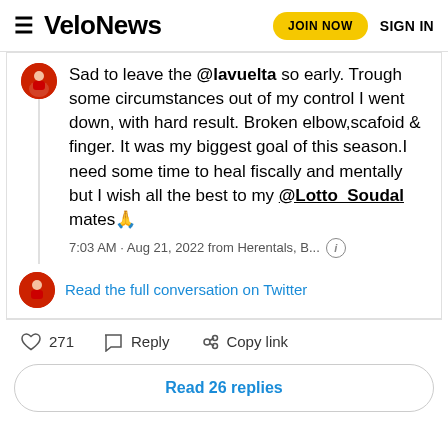VeloNews  JOIN NOW  SIGN IN
Sad to leave the @lavuelta so early. Trough some circumstances out of my control I went down, with hard result. Broken elbow,scafoid & finger. It was my biggest goal of this season.I need some time to heal fiscally and mentally but I wish all the best to my @Lotto_Soudal mates 🙏
7:03 AM · Aug 21, 2022 from Herentals, B... ⓘ
Read the full conversation on Twitter
♡ 271   Reply   Copy link
Read 26 replies